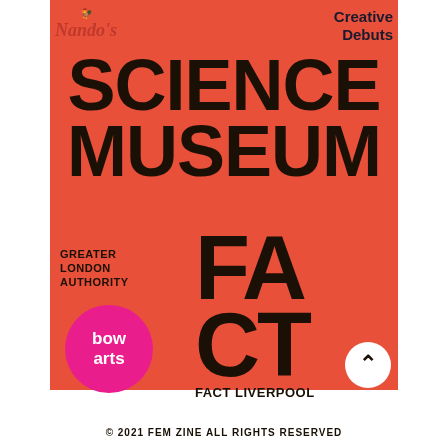[Figure (logo): Nando's logo with bird icon in dark red italic serif font]
[Figure (logo): Creative Debuts logo in bold black sans-serif, two lines]
SCIENCE MUSEUM
[Figure (logo): Greater London Authority text logo in bold black caps]
[Figure (logo): FACT large bold black letters with FACT LIVERPOOL text below]
[Figure (logo): Bow Arts pink circle logo with white bold text]
© 2021 FEM ZINE ALL RIGHTS RESERVED